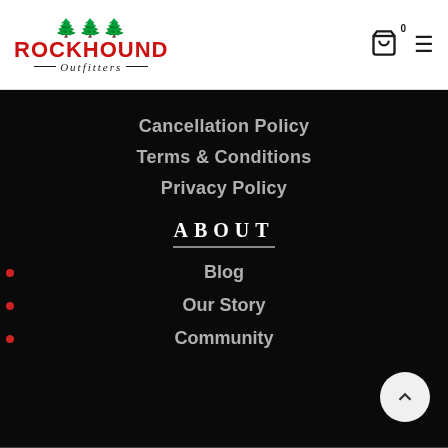[Figure (logo): Rockhound Outfitters logo with pine trees above bold red text and italic Outfitters subtitle]
Cancellation Policy
Terms & Conditions
Privacy Policy
ABOUT
Blog
Our Story
Community